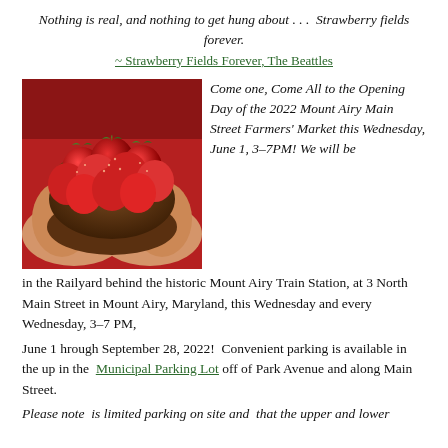Nothing is real, and nothing to get hung about…  Strawberry fields forever.
~ Strawberry Fields Forever, The Beattles
[Figure (photo): Person in red shirt holding a wooden bowl filled with fresh strawberries]
Come one, Come All to the Opening Day of the 2022 Mount Airy Main Street Farmers' Market this Wednesday, June 1, 3–7PM!  We will be in the Railyard behind the historic Mount Airy Train Station, at 3 North Main Street in Mount Airy, Maryland, this Wednesday and every Wednesday, 3–7 PM,
June 1 hrough September 28, 2022!  Convenient parking is available in the up in the  Municipal Parking Lot off of Park Avenue and along Main Street.
Please note  is limited parking on site and  that the upper and lower